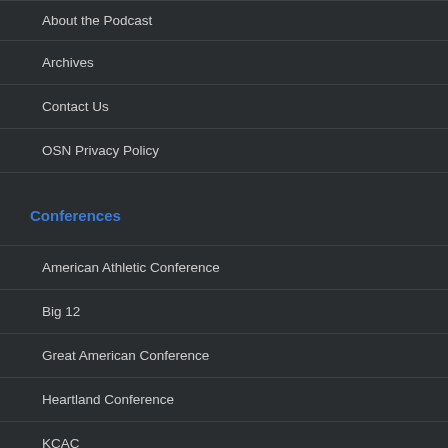About the Podcast
Archives
Contact Us
OSN Privacy Policy
Conferences
American Athletic Conference
Big 12
Great American Conference
Heartland Conference
KCAC